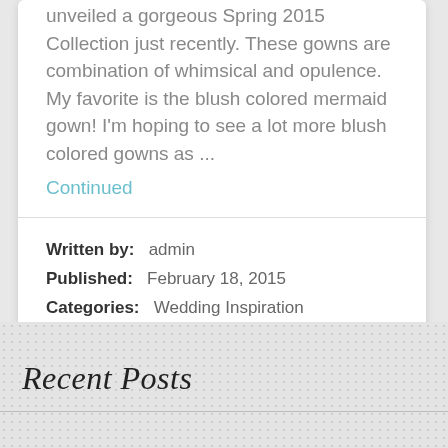unveiled a gorgeous Spring 2015 Collection just recently. These gowns are combination of whimsical and opulence. My favorite is the blush colored mermaid gown! I'm hoping to see a lot more blush colored gowns as ... Continued
Written by: admin
Published: February 18, 2015
Categories: Wedding Inspiration
Tags: blush, Dresses, maggie sottero, spring, spring 2015, Wedding Gowns
Recent Posts